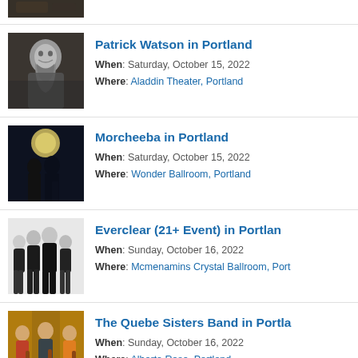[Figure (photo): Partial top image of a venue or performer, dark tones, cropped at top of page]
[Figure (photo): Black and white photo of Patrick Watson, a bearded man sitting]
Patrick Watson in Portland
When: Saturday, October 15, 2022
Where: Aladdin Theater, Portland
[Figure (photo): Dark atmospheric photo with silhouetted figures and a large moon]
Morcheeba in Portland
When: Saturday, October 15, 2022
Where: Wonder Ballroom, Portland
[Figure (photo): Photo of Everclear band members standing against white background]
Everclear (21+ Event) in Portland
When: Sunday, October 16, 2022
Where: Mcmenamins Crystal Ballroom, Port
[Figure (photo): Photo of The Quebe Sisters Band, three women with violins]
The Quebe Sisters Band in Portland
When: Sunday, October 16, 2022
Where: Alberta Rose, Portland